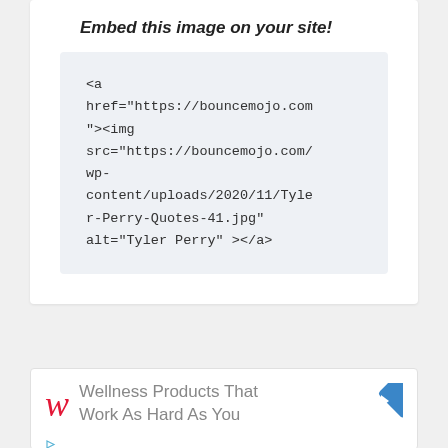Embed this image on your site!
<a href="https://bouncemojo.com"><img src="https://bouncemojo.com/wp-content/uploads/2020/11/Tyler-Perry-Quotes-41.jpg" alt="Tyler Perry" ></a>
[Figure (screenshot): Advertisement banner for Walgreens showing 'Wellness Products That Work As Hard As You' with Walgreens W logo and navigation arrow icon]